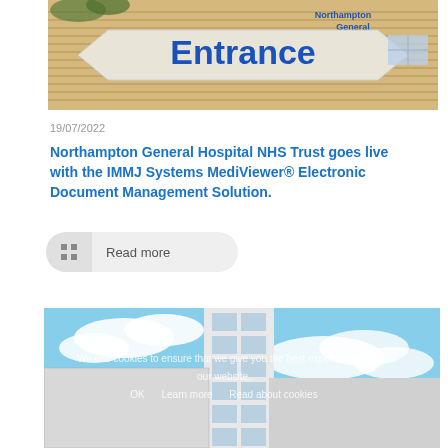[Figure (photo): Northampton General Hospital entrance sign on a building facade with tan/beige horizontal siding. The entrance sign is a hexagonal shape with 'Entrance' written in large blue letters. Hospital name is visible on the upper right corner of the building.]
19/07/2022
Northampton General Hospital NHS Trust goes live with the IMMJ Systems MediViewer® Electronic Document Management Solution.
Read more
[Figure (photo): Modern hospital building with white/grey facade and glass windows, photographed against a blue sky with clouds. Cookie consent overlay text visible.]
We use cookies to ensure that we give you the best experience on our website.

OK     Learn more     Read about cookies